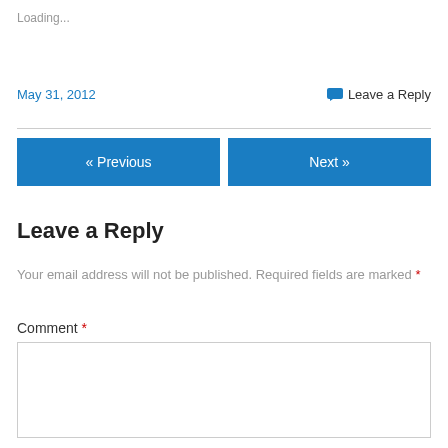Loading...
May 31, 2012
Leave a Reply
« Previous
Next »
Leave a Reply
Your email address will not be published. Required fields are marked *
Comment *